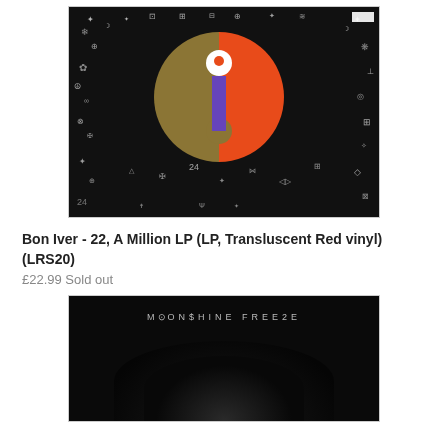[Figure (photo): Bon Iver - 22, A Million album cover art: black background with intricate white illustrations and symbols surrounding a central yin-yang motif in golden/olive and orange-red colors with a purple vertical bar in the center.]
Bon Iver - 22, A Million LP (LP, Transluscent Red vinyl) (LRS20)
£22.99 Sold out
[Figure (photo): Album cover showing 'MOONSHINE FREEZE' text at top in spaced letters on a dark background with a shadowy silhouette figure below.]